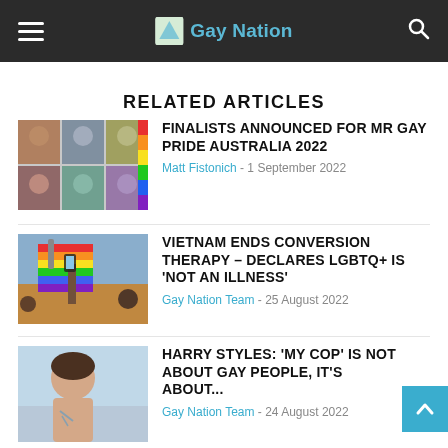Gay Nation
RELATED ARTICLES
[Figure (photo): Grid of portraits of Mr Gay Pride Australia 2022 finalists]
FINALISTS ANNOUNCED FOR MR GAY PRIDE AUSTRALIA 2022
Matt Fistonich - 1 September 2022
[Figure (photo): Person holding a rainbow pride flag outdoors at a rally]
VIETNAM ENDS CONVERSION THERAPY – DECLARES LGBTQ+ IS 'NOT AN ILLNESS'
Gay Nation Team - 25 August 2022
[Figure (photo): Harry Styles photographed outdoors, upper body visible]
HARRY STYLES: 'MY COP' IS NOT ABOUT GAY PEOPLE, IT'S ABOUT...
Gay Nation Team - 24 August 2022